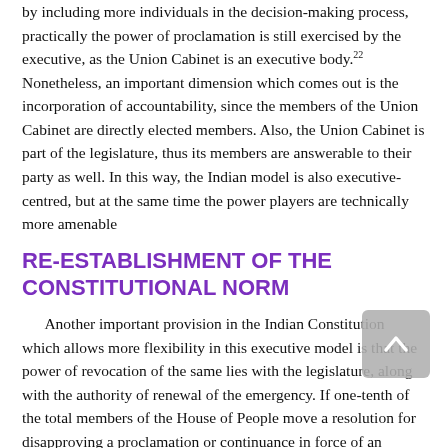by including more individuals in the decision-making process, practically the power of proclamation is still exercised by the executive, as the Union Cabinet is an executive body.22 Nonetheless, an important dimension which comes out is the incorporation of accountability, since the members of the Union Cabinet are directly elected members. Also, the Union Cabinet is part of the legislature, thus its members are answerable to their party as well. In this way, the Indian model is also executive-centred, but at the same time the power players are technically more amenable
RE-ESTABLISHMENT OF THE CONSTITUTIONAL NORM
Another important provision in the Indian Constitution which allows more flexibility in this executive model is that the power of revocation of the same lies with the legislature, along with the authority of renewal of the emergency. If one-tenth of the total members of the House of People move a resolution for disapproving a proclamation or continuance in force of an emergency, then that resolution will be presented to both houses for approval.23 This adaptation allows challenging the credibility of exercise of emergency powers at any time